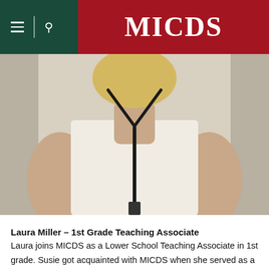MICDS
[Figure (photo): Photo of a person wearing a white shirt with a black lanyard, cropped at torso level with blonde hair visible at top.]
Laura Miller – 1st Grade Teaching Associate
Laura joins MICDS as a Lower School Teaching Associate in 1st grade. Susie got acquainted with MICDS when she served as a part-time Substitute Teacher and member of the Extended Day team in 2020-2021. Before MICDS, Laura taught at the British